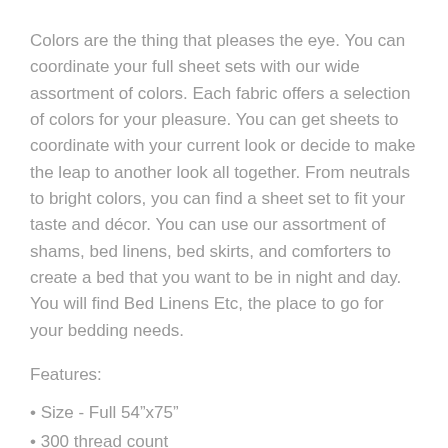Colors are the thing that pleases the eye. You can coordinate your full sheet sets with our wide assortment of colors. Each fabric offers a selection of colors for your pleasure. You can get sheets to coordinate with your current look or decide to make the leap to another look all together. From neutrals to bright colors, you can find a sheet set to fit your taste and décor. You can use our assortment of shams, bed linens, bed skirts, and comforters to create a bed that you want to be in night and day. You will find Bed Linens Etc, the place to go for your bedding needs.
Features:
• Size - Full 54"x75"
• 300 thread count
• 100% cotton
• Available in close-out (8"-10") counts and more...